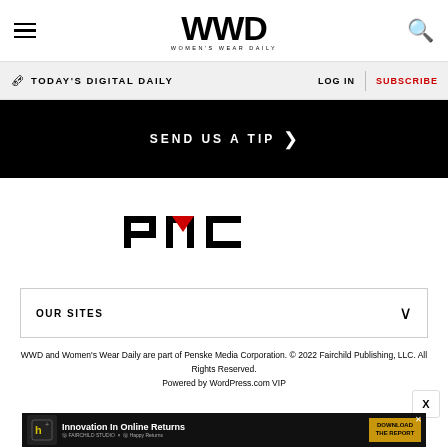WWD WOMEN'S WEAR DAILY
TODAY'S DIGITAL DAILY   LOG IN   SUBSCRIBE
SEND US A TIP >
[Figure (logo): PMC (Penske Media Corporation) logo in black with red accent on the M]
OUR SITES
WWD and Women's Wear Daily are part of Penske Media Corporation. © 2022 Fairchild Publishing, LLC. All Rights Reserved. Powered by WordPress.com VIP
[Figure (other): Advertisement banner: Innovation In Online Returns, Happy Returns, Download The Report button]